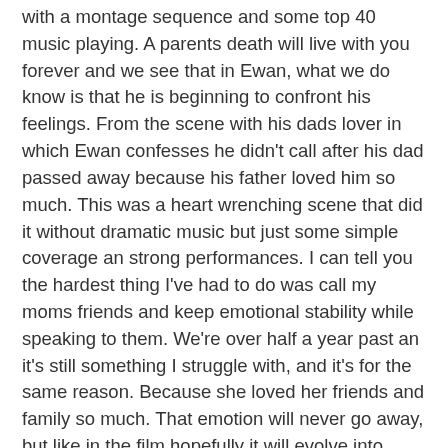with a montage sequence and some top 40 music playing. A parents death will live with you forever and we see that in Ewan, what we do know is that he is beginning to confront his feelings. From the scene with his dads lover in which Ewan confesses he didn't call after his dad passed away because his father loved him so much. This was a heart wrenching scene that did it without dramatic music but just some simple coverage an strong performances. I can tell you the hardest thing I've had to do was call my moms friends and keep emotional stability while speaking to them. We're over half a year past an it's still something I struggle with, and it's for the same reason. Because she loved her friends and family so much. That emotion will never go away, but like in the film hopefully it will evolve into acceptance and happiness. At the end of the film Ewan comes to terms with the fact that his dad was happy when he passed away, he had discovered who he was and lived the last of his time to the fullest. Now Mama Bence did not have a late in life discovery like Plummer, but she loved her life, and never lived with regret. No matter who you were, friends or family it was all the same to her and they were the most important people in her life. Like I said in my last piece, my mom lived